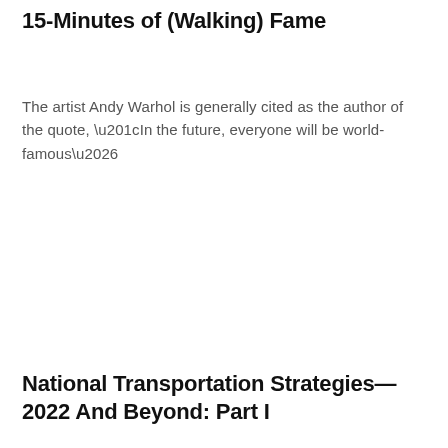15-Minutes of (Walking) Fame
The artist Andy Warhol is generally cited as the author of the quote, “In the future, everyone will be world-famous…
National Transportation Strategies—2022 And Beyond: Part I